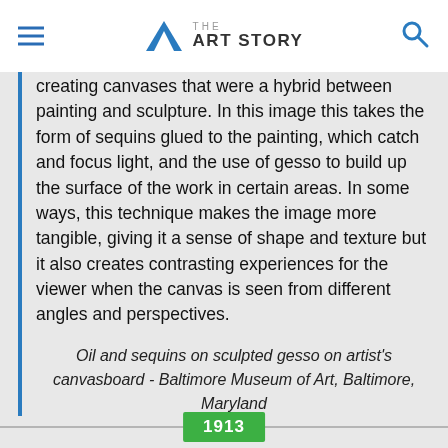THE ART STORY
creating canvases that were a hybrid between painting and sculpture. In this image this takes the form of sequins glued to the painting, which catch and focus light, and the use of gesso to build up the surface of the work in certain areas. In some ways, this technique makes the image more tangible, giving it a sense of shape and texture but it also creates contrasting experiences for the viewer when the canvas is seen from different angles and perspectives.
Oil and sequins on sculpted gesso on artist's canvasboard - Baltimore Museum of Art, Baltimore, Maryland
1913